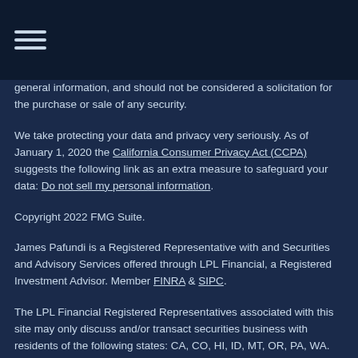general information, and should not be considered a solicitation for the purchase or sale of any security.
We take protecting your data and privacy very seriously. As of January 1, 2020 the California Consumer Privacy Act (CCPA) suggests the following link as an extra measure to safeguard your data: Do not sell my personal information.
Copyright 2022 FMG Suite.
James Pafundi is a Registered Representative with and Securities and Advisory Services offered through LPL Financial, a Registered Investment Advisor. Member FINRA & SIPC.
The LPL Financial Registered Representatives associated with this site may only discuss and/or transact securities business with residents of the following states: CA, CO, HI, ID, MT, OR, PA, WA.